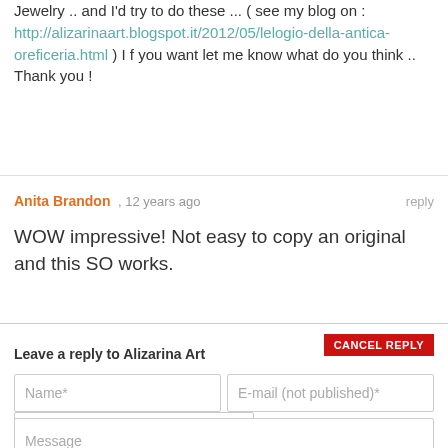Jewelry .. and I'd try to do these ... ( see my blog on : http://alizarinaart.blogspot.it/2012/05/lelogio-della-antica-oreficeria.html ) I f you want let me know what do you think .. Thank you !
Anita Brandon , 12 years ago
reply
WOW impressive! Not easy to copy an original and this SO works.
Leave a reply to Alizarina Art
CANCEL REPLY
Name*
E-mail (not published)*
Website
Message